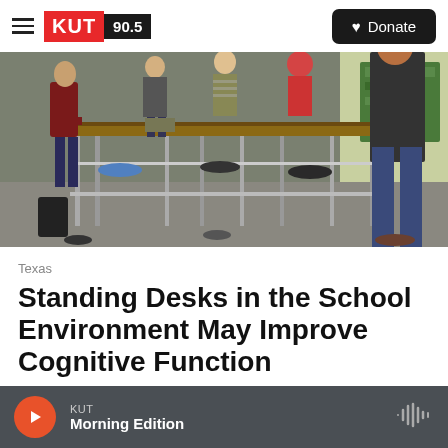KUT 90.5 — Donate
[Figure (photo): Students at standing desks in a classroom, working at tall countertop-style desks with stools, viewed from a low angle showing legs and desk framework]
Texas
Standing Desks in the School Environment May Improve Cognitive Function
KUT Morning Edition (audio player bar)